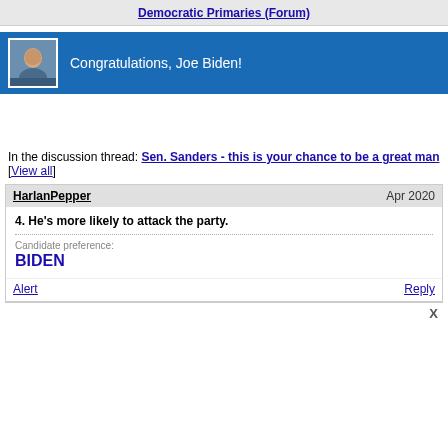Democratic Primaries (Forum)
[Figure (photo): Headshot photo of Joe Biden smiling in a suit]
Congratulations, Joe Biden!
In the discussion thread: Sen. Sanders - this is your chance to be a great man [View all]
HarlanPepper    Apr 2020
4. He's more likely to attack the party.
Candidate preference: BIDEN
Alert    Reply